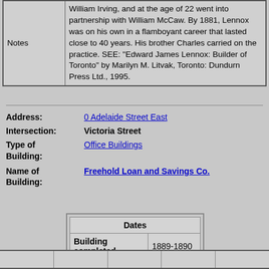| Notes |  |
| --- | --- |
| Notes | William Irving, and at the age of 22 went into partnership with William McCaw. By 1881, Lennox was on his own in a flamboyant career that lasted close to 40 years. His brother Charles carried on the practice. SEE: "Edward James Lennox: Builder of Toronto" by Marilyn M. Litvak, Toronto: Dundurn Press Ltd., 1995. |
Address: 0 Adelaide Street East
Intersection: Victoria Street
Type of Building: Office Buildings
Name of Building: Freehold Loan and Savings Co.
| Dates |  |
| --- | --- |
| Building completed | 1889-1890 |